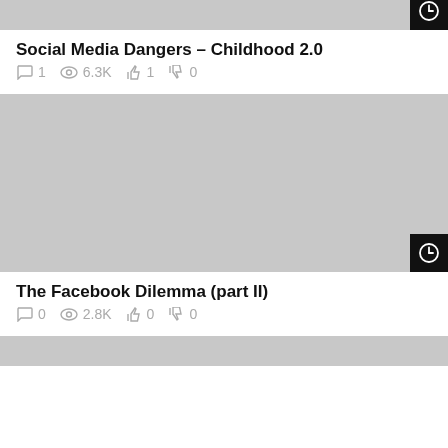[Figure (screenshot): Top cropped thumbnail image (gray placeholder) for Social Media Dangers video with clock icon]
Social Media Dangers – Childhood 2.0
1 comment  6.3K views  1 like  0 dislikes
[Figure (screenshot): Large gray thumbnail image for The Facebook Dilemma (part II) video with clock icon]
The Facebook Dilemma (part II)
0 comments  2.8K views  0 likes  0 dislikes
[Figure (screenshot): Bottom partially visible gray thumbnail]